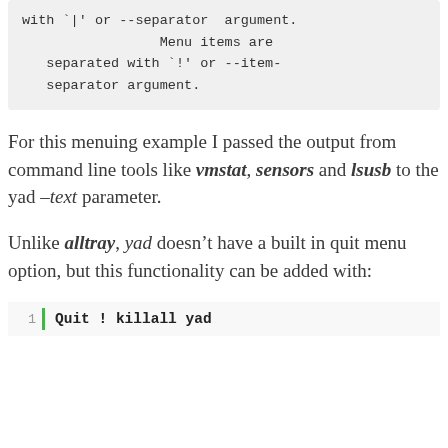with `|' or --separator  argument.
                Menu items are
   separated with `!' or --item-
   separator argument.
For this menuing example I passed the output from command line tools like vmstat, sensors and lsusb to the yad –text parameter.
Unlike alltray, yad doesn't have a built in quit menu option, but this functionality can be added with:
1  Quit ! killall yad